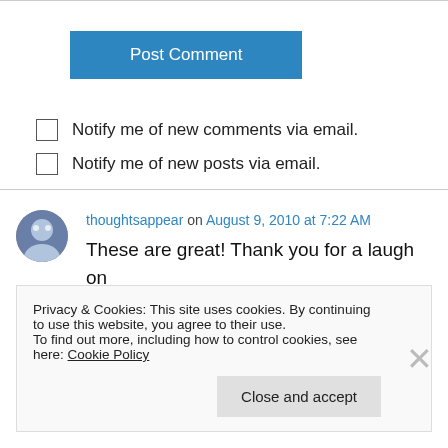[Figure (other): Post Comment button — blue rectangle with white text]
Notify me of new comments via email.
Notify me of new posts via email.
thoughtsappear on August 9, 2010 at 7:22 AM
These are great! Thank you for a laugh on Monday morning!
Privacy & Cookies: This site uses cookies. By continuing to use this website, you agree to their use.
To find out more, including how to control cookies, see here: Cookie Policy
Close and accept